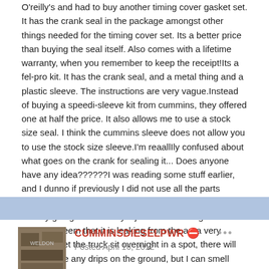O'reilly's and had to buy another timing cover gasket set. It has the crank seal in the package amongst other things needed for the timing cover set. Its a better price than buying the seal itself. Also comes with a lifetime warranty, when you remember to keep the receipt!Its a fel-pro kit. It has the crank seal, and a metal thing and a plastic sleeve. The instructions are very vague.Instead of buying a speedi-sleeve kit from cummins, they offered one at half the price. It also allows me to use a stock size seal. I think the cummins sleeve does not allow you to use the stock size sleeve.I'm reaallIly confused about what goes on the crank for sealing it... Does anyone have any idea??????I was reading some stuff earlier, and I dunno if previously I did not use all the parts needed to do the crank seal, or if it was just too much blowby going on when my injectors were no good. It does not seem that it is leaking from the area very much. If I let the truck sit overnight in a spot, there will not even be any drips on the ground, but I can smell burnt oil when I park after driving, though.
CUMMINSDIESELPWR
Posted April 16, 2012